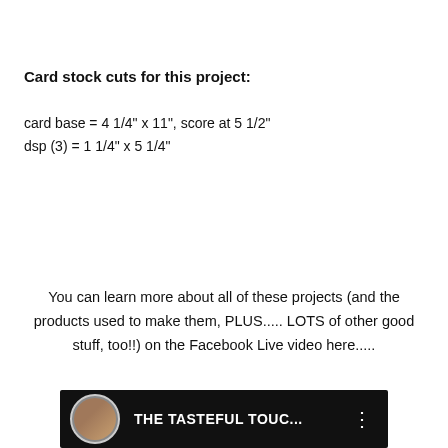Card stock cuts for this project:
card base = 4 1/4" x 11", score at 5 1/2"
dsp (3) = 1 1/4" x 5 1/4"
You can learn more about all of these projects (and the products used to make them, PLUS..... LOTS of other good stuff, too!!) on the Facebook Live video here.....
[Figure (screenshot): Video thumbnail showing a Facebook Live video player with a circular avatar of a person on the left and the text 'THE TASTEFUL TOUC...' with a vertical three-dot menu icon on a black background.]